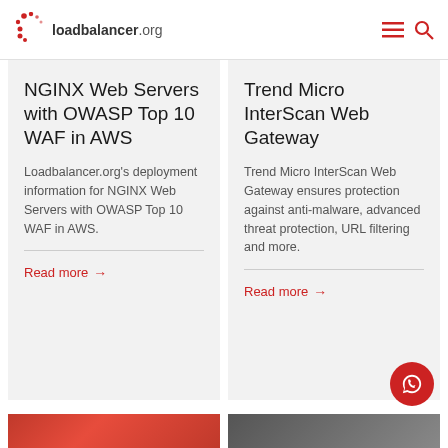loadbalancer.org
NGINX Web Servers with OWASP Top 10 WAF in AWS
Loadbalancer.org's deployment information for NGINX Web Servers with OWASP Top 10 WAF in AWS.
Read more →
Trend Micro InterScan Web Gateway
Trend Micro InterScan Web Gateway ensures protection against anti-malware, advanced threat protection, URL filtering and more.
Read more →